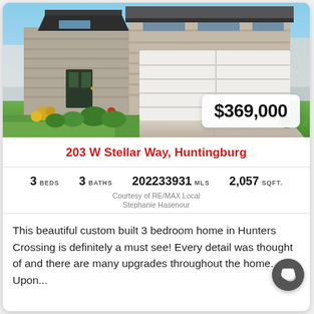[Figure (photo): Exterior photo of a custom-built ranch/two-story home with stone facade and large two-car garage, green lawn, landscaping with shrubs and yellow flowers, concrete driveway, blue sky background. Price badge overlaid: $369,000]
203 W Stellar Way, Huntingburg
3 BEDS   3 BATHS   202233931 MLS   2,057 SQFT.
Courtesy of RE/MAX Local
Stephanie Hasenour
This beautiful custom built 3 bedroom home in Hunters Crossing is definitely a must see! Every detail was thought of and there are many upgrades throughout the home. Upon...